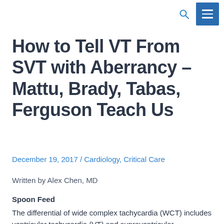[search icon] [menu button]
How to Tell VT From SVT with Aberrancy – Mattu, Brady, Tabas, Ferguson Teach Us
December 19, 2017 / Cardiology, Critical Care
Written by Alex Chen, MD
Spoon Feed
The differential of wide complex tachycardia (WCT) includes ventricular tachycardia (VT) and supraventricular tachycardia with aberrant conduction (SVT-AC). The summary below provides